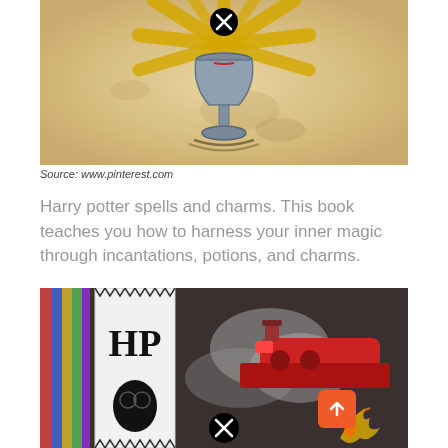[Figure (photo): Illustration of a chalice/goblet with golden rays radiating outward on a parchment background, with a circular X close button in the upper center]
Source: www.pinterest.com
Harry potter spells and charms. This book teaches you how to harness your inner magic through incantations, potions, and charms.
[Figure (photo): Photo showing an HP Harry Potter cross-stitch bookmark with Harry Potter silhouette, alongside a red steam train with smoke, and a phoenix in the lower right corner. A circular X close button is visible near the bottom center.]